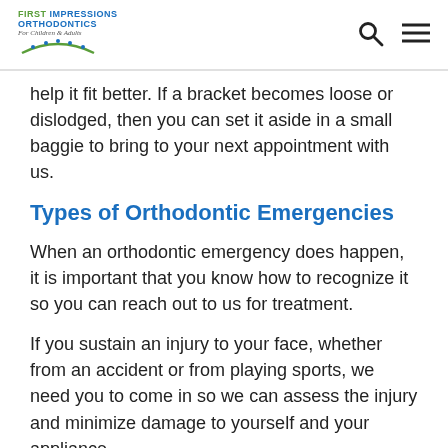FIRST IMPRESSIONS ORTHODONTICS For Children & Adults
help it fit better. If a bracket becomes loose or dislodged, then you can set it aside in a small baggie to bring to your next appointment with us.
Types of Orthodontic Emergencies
When an orthodontic emergency does happen, it is important that you know how to recognize it so you can reach out to us for treatment.
If you sustain an injury to your face, whether from an accident or from playing sports, we need you to come in so we can assess the injury and minimize damage to yourself and your appliance.